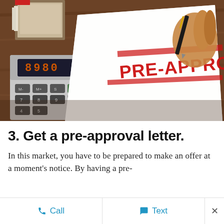[Figure (photo): Photo of a desk with a calculator and a document stamped with 'PRE-APPROVED' in red, with a hand holding a pen nearby.]
3. Get a pre-approval letter.
In this market, you have to be prepared to make an offer at a moment's notice. By having a pre-approval letter from your lender...
Call   Text   ×